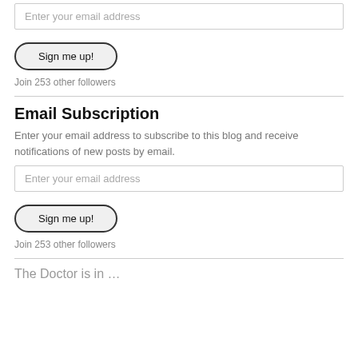Enter your email address
Sign me up!
Join 253 other followers
Email Subscription
Enter your email address to subscribe to this blog and receive notifications of new posts by email.
Enter your email address
Sign me up!
Join 253 other followers
The Doctor is in …